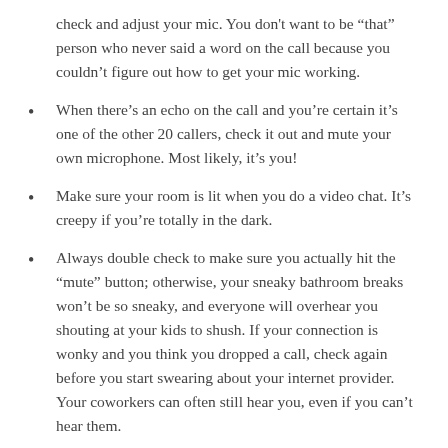check and adjust your mic. You don't want to be “that” person who never said a word on the call because you couldn’t figure out how to get your mic working.
When there’s an echo on the call and you’re certain it’s one of the other 20 callers, check it out and mute your own microphone. Most likely, it’s you!
Make sure your room is lit when you do a video chat. It’s creepy if you’re totally in the dark.
Always double check to make sure you actually hit the “mute” button; otherwise, your sneaky bathroom breaks won’t be so sneaky, and everyone will overhear you shouting at your kids to shush. If your connection is wonky and you think you dropped a call, check again before you start swearing about your internet provider. Your coworkers can often still hear you, even if you can’t hear them.
It’s also important to make sure that you are NOT on